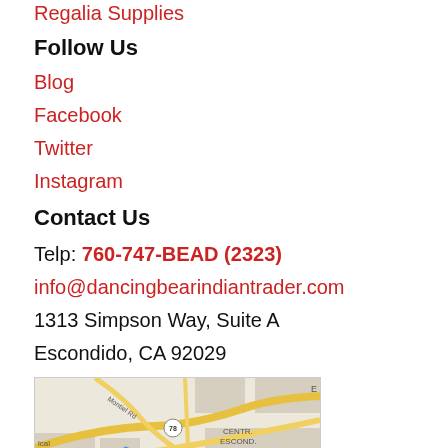Regalia Supplies
Follow Us
Blog
Facebook
Twitter
Instagram
Contact Us
Telp: 760-747-BEAD (2323)
info@dancingbearindiantrader.com
1313 Simpson Way, Suite A
Escondido, CA 92029
[Figure (map): Google Maps embed showing location near W Mission Rd and Montiel Rd in Escondido, CA, with highway 78 visible, CENTRAL ESCONDIDO label, and In-N-Out Burger marker nearby.]